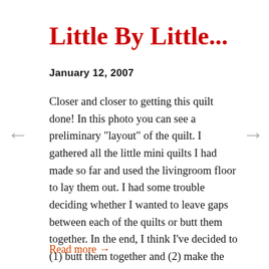Little By Little...
January 12, 2007
Closer and closer to getting this quilt done! In this photo you can see a preliminary "layout" of the quilt. I gathered all the little mini quilts I had made so far and used the livingroom floor to lay them out. I had some trouble deciding whether I wanted to leave gaps between each of the quilts or butt them together. In the end, I think I've decided to (1) butt them together and (2) make the overall shape of the quilt like a shirt. For me, it's as if each of these statements about myself is something I wear...
Read more →